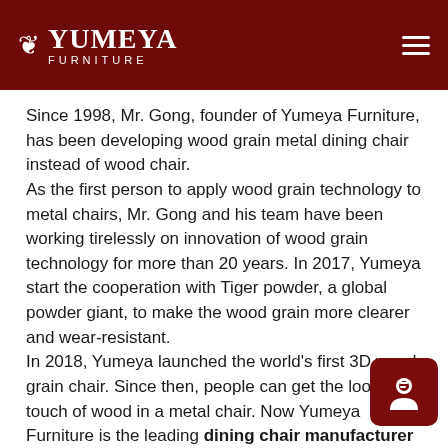YUMEYA FURNITURE
Since 1998, Mr. Gong, founder of Yumeya Furniture, has been developing wood grain metal dining chair instead of wood chair.
As the first person to apply wood grain technology to metal chairs, Mr. Gong and his team have been working tirelessly on innovation of wood grain technology for more than 20 years. In 2017, Yumeya start the cooperation with Tiger powder, a global powder giant, to make the wood grain more clearer and wear-resistant.
In 2018, Yumeya launched the world's first 3D wood grain chair. Since then, people can get the look and touch of wood in a metal chair. Now Yumeya Furniture is the leading dining chair manufacturer and wholesale metal chairs supplier.